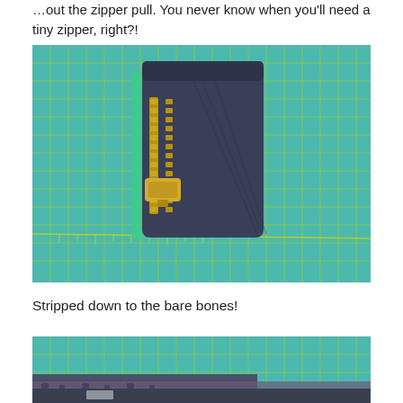...out the zipper pull. You never know when you'll need a tiny zipper, right?!
[Figure (photo): A small pouch with a brass zipper, placed on a teal/turquoise cutting mat with yellow grid lines and ruler markings. The pouch is dark navy/denim colored with a green fabric strip visible along one side.]
Stripped down to the bare bones!
[Figure (photo): Close-up of fabric layers on a teal cutting mat, showing denim and patterned fabric being deconstructed or separated.]